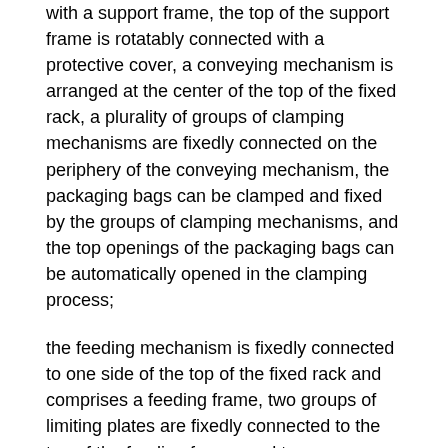with a support frame, the top of the support frame is rotatably connected with a protective cover, a conveying mechanism is arranged at the center of the top of the fixed rack, a plurality of groups of clamping mechanisms are fixedly connected on the periphery of the conveying mechanism, the packaging bags can be clamped and fixed by the groups of clamping mechanisms, and the top openings of the packaging bags can be automatically opened in the clamping process;
the feeding mechanism is fixedly connected to one side of the top of the fixed rack and comprises a feeding frame, two groups of limiting plates are fixedly connected to the top of the feeding frame, and two rectangular holes are formed in the bottom of the feeding frame;
a plurality of packaging bags are stacked between the two groups of limiting plates, a feeding mechanism corresponding to the packaging bags is arranged at the bottom of the feeding mechanism, and filling holes corresponding to the packaging bags are formed in the front end of the top of the protective cover, so that the filling mechanism can extend into the protective cover through the filling holes and can fill quantitative packaging